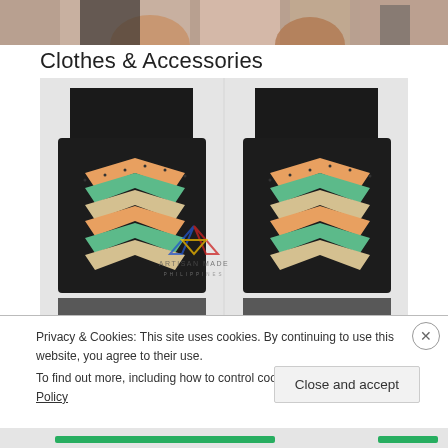[Figure (photo): Cropped photo of people's torsos, dark background at top of page]
Clothes & Accessories
[Figure (photo): Two side-by-side images of a black leather clutch/wallet with colorful chevron beaded pattern in orange, teal, and cream. Center watermark reads ARTISAN MADE PHILIPPINES.]
Privacy & Cookies: This site uses cookies. By continuing to use this website, you agree to their use.
To find out more, including how to control cookies, see here: Cookie Policy
Close and accept